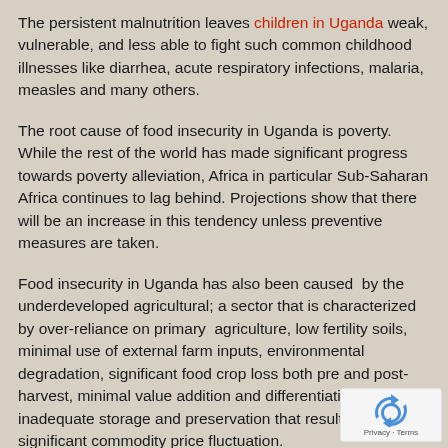The persistent malnutrition leaves children in Uganda weak, vulnerable, and less able to fight such common childhood illnesses like diarrhea, acute respiratory infections, malaria, measles and many others.
The root cause of food insecurity in Uganda is poverty. While the rest of the world has made significant progress towards poverty alleviation, Africa in particular Sub-Saharan Africa continues to lag behind. Projections show that there will be an increase in this tendency unless preventive measures are taken.
Food insecurity in Uganda has also been caused by the underdeveloped agricultural; a sector that is characterized by over-reliance on primary agriculture, low fertility soils, minimal use of external farm inputs, environmental degradation, significant food crop loss both pre and post-harvest, minimal value addition and differentiation and inadequate storage and preservation that result in significant commodity price fluctuation.
More so, food insecurity in Uganda is caused by lack of adequate storage facilities for food items such as cereals, yams, and beans which automatically leads to wastage